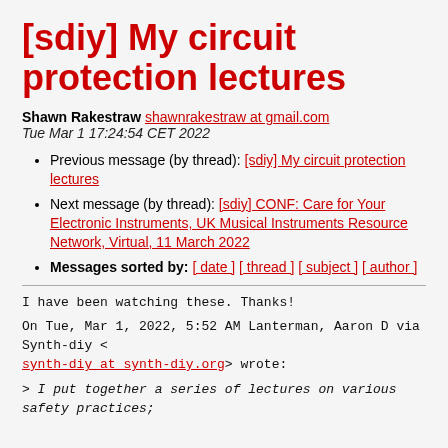[sdiy] My circuit protection lectures
Shawn Rakestraw shawnrakestraw at gmail.com
Tue Mar 1 17:24:54 CET 2022
Previous message (by thread): [sdiy] My circuit protection lectures
Next message (by thread): [sdiy] CONF: Care for Your Electronic Instruments, UK Musical Instruments Resource Network, Virtual, 11 March 2022
Messages sorted by: [ date ] [ thread ] [ subject ] [ author ]
I have been watching these. Thanks!
On Tue, Mar 1, 2022, 5:52 AM Lanterman, Aaron D via Synth-diy <
synth-diy at synth-diy.org> wrote:
> I put together a series of lectures on various safety practices;